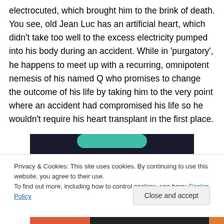electrocuted, which brought him to the brink of death. You see, old Jean Luc has an artificial heart, which didn't take too well to the excess electricity pumped into his body during an accident. While in 'purgatory', he happens to meet up with a recurring, omnipotent nemesis of his named Q who promises to change the outcome of his life by taking him to the very point where an accident had compromised his life so he wouldn't require his heart transplant in the first place.
[Figure (screenshot): Dark background image strip with teal rounded rectangle element visible at top]
Privacy & Cookies: This site uses cookies. By continuing to use this website, you agree to their use.
To find out more, including how to control cookies, see here: Cookie Policy